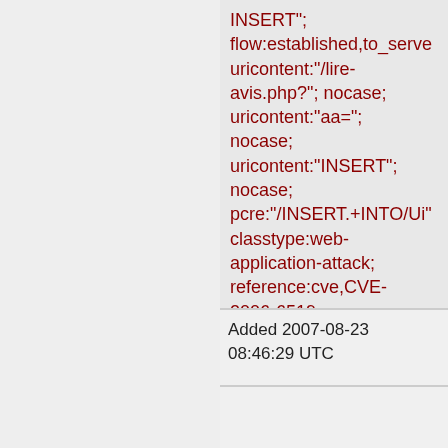INSERT"; flow:established,to_server; uricontent:"/lire-avis.php?"; nocase; uricontent:"aa="; nocase; uricontent:"INSERT"; nocase; pcre:"/INSERT.+INTO/Ui"; classtype:web-application-attack; reference:cve,CVE-2006-6519; reference:url,www.securit sid:2006353; rev:2;)
Added 2007-08-23 08:46:29 UTC